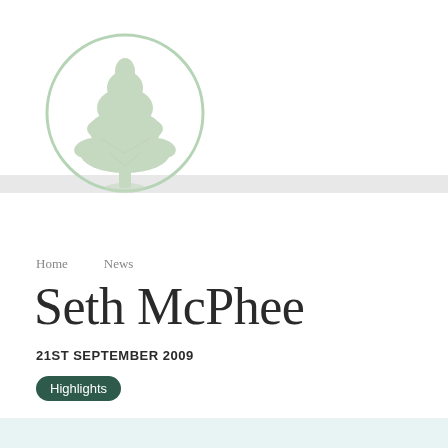[Figure (logo): A circular logo with a light green cedar tree illustration inside a light green circle outline on white background]
Home   News
Seth McPhee
21ST SEPTEMBER 2009
Highlights